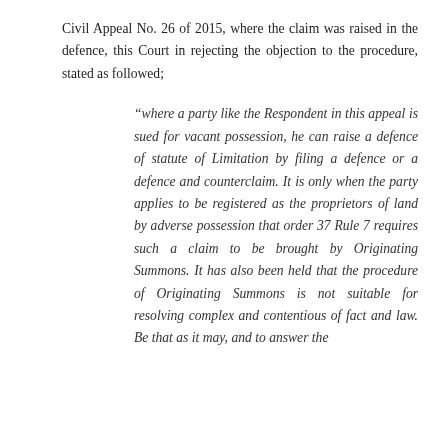Civil Appeal No. 26 of 2015, where the claim was raised in the defence, this Court in rejecting the objection to the procedure, stated as followed;
“where a party like the Respondent in this appeal is sued for vacant possession, he can raise a defence of statute of Limitation by filing a defence or a defence and counterclaim. It is only when the party applies to be registered as the proprietors of land by adverse possession that order 37 Rule 7 requires such a claim to be brought by Originating Summons. It has also been held that the procedure of Originating Summons is not suitable for resolving complex and contentious of fact and law. Be that as it may, and to answer the